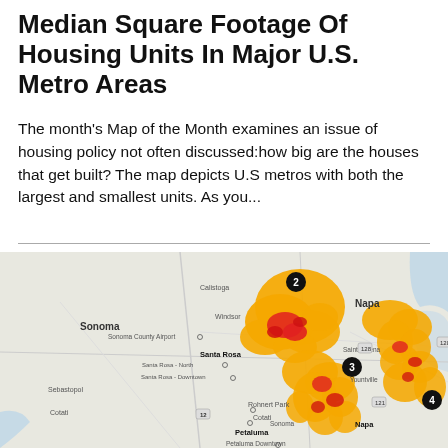Median Square Footage Of Housing Units In Major U.S. Metro Areas
The month's Map of the Month examines an issue of housing policy not often discussed:how big are the houses that get built? The map depicts U.S metros with both the largest and smallest units. As you...
[Figure (map): Map of Sonoma and Napa metro areas in California showing housing density clusters. Orange and red shaded areas indicate housing concentrations. Numbered black circle markers labeled 2, 3, and 4 mark specific locations. Key labels include Sonoma, Napa, Santa Rosa, Sonoma County Airport, Santa Rosa - North, Santa Rosa - Downtown, Rohnert Park, Cotati, Petaluma, Petaluma Downtown, Windsor, Calistoga, Saint Helena, Yountville, Sonoma (town).]